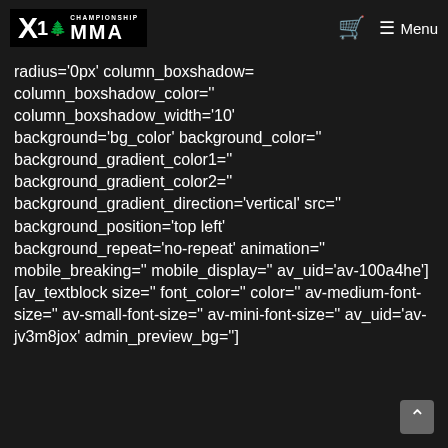X1 Championship MMA | Menu
radius='0px' column_boxshadow= column_boxshadow_color='' column_boxshadow_width='10' background='bg_color' background_color='' background_gradient_color1='' background_gradient_color2='' background_gradient_direction='vertical' src='' background_position='top left' background_repeat='no-repeat' animation='' mobile_breaking='' mobile_display='' av_uid='av-100a4he'] [av_textblock size='' font_color='' color='' av-medium-font-size='' av-small-font-size='' av-mini-font-size='' av_uid='av-jv3m8jox' admin_preview_bg='']